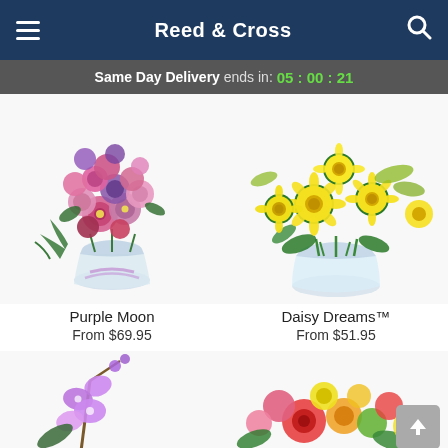Reed & Cross
Same Day Delivery ends in: 05:00:21
[Figure (photo): Purple Moon flower arrangement in a glass vase with pink, purple, and magenta mixed blooms and ribbon]
Purple Moon
From $69.95
[Figure (photo): Daisy Dreams flower arrangement in a glass bowl vase with yellow daisies]
Daisy Dreams™
From $51.95
[Figure (photo): Partial view of purple orchid stems at the bottom left]
[Figure (photo): Partial view of colorful mixed flower bouquet at the bottom right]